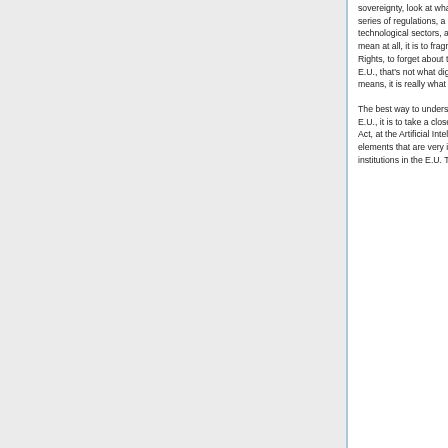sovereignty, look at what we're doing. What we're doing, it is a series of regulations, a series of public investments on certain technological sectors, and that's what we mean. What we don't mean at all, it is to fragment the internet, to forget about Human Rights, to forget about the charter, the Fundamental Rights of the E.U., that's not what digital sovereignty means for the E.U. What it means, it is really what we're doing.
The best way to understand how this concept is being applied at the E.U., it is to take a close look at the Digital Services Act, at the Data Act, at the Artificial Intelligence Act, other acts and all of these elements that are very intensively discussed by the systems of institutions in the E.U. This is not the